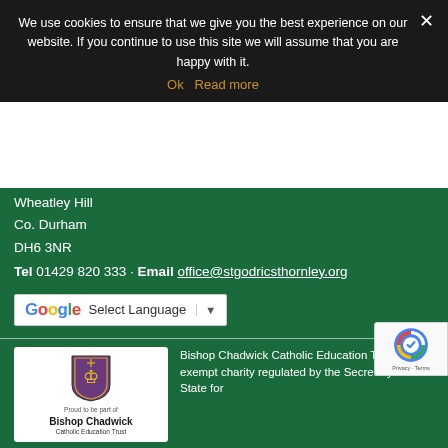We use cookies to ensure that we give you the best experience on our website. If you continue to use this site we will assume that you are happy with it.
Ok  Read more
Wheatley Hill
Co. Durham
DH6 3NR
Tel 01429 820 333 · Email office@stgodricsthornley.org
[Figure (screenshot): Google Translate widget showing 'Select Language' dropdown]
Legal Information | Website Login
Powered by Durham County Council.
[Figure (logo): Bishop Chadwick Catholic Education Trust logo — shield crest with text 'Proud to be part of Bishop Chadwick Catholic Education Trust']
Bishop Chadwick Catholic Education Trust is an exempt charity regulated by the Secretary of State for